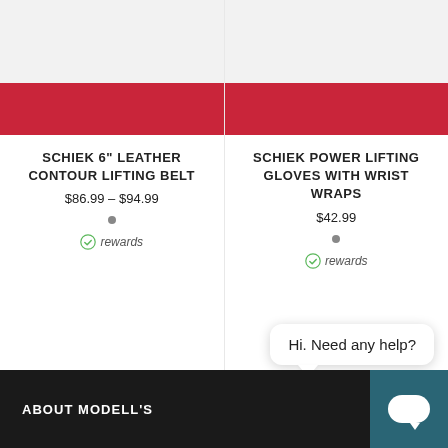[Figure (photo): Product image area for Schiek 6" Leather Contour Lifting Belt — gray area with red banner at bottom]
SCHIEK 6" LEATHER CONTOUR LIFTING BELT
$86.99 – $94.99
rewards
[Figure (photo): Product image area for Schiek Power Lifting Gloves With Wrist Wraps — gray area with red banner at bottom]
SCHIEK POWER LIFTING GLOVES WITH WRIST WRAPS
$42.99
rewards
Hi. Need any help?
ABOUT MODELL'S